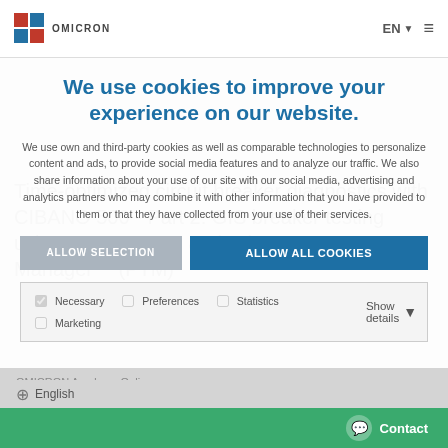OMICRON | EN ≡
We use cookies to improve your experience on our website.
We use own and third-party cookies as well as comparable technologies to personalize content and ads, to provide social media features and to analyze our traffic. We also share information about your use of our site with our social media, advertising and analytics partners who may combine it with other information that you have provided to them or that they have collected from your use of their services.
ALLOW SELECTION | ALLOW ALL COOKIES
Necessary | Preferences | Statistics | Show details
Marketing
Time-optimized circuit breaker diagnostics with CIBANO 500 - Part 2: GIS breaker testing using CIBANO 500 and Primary Test Manager™ (PTM)
OMICRON Academy Online
Webinar (Recorded)
English
Contact